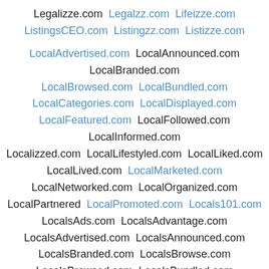Legalizze.com  Legalzz.com  Lifeizze.com  ListingsCEO.com  Listingzz.com  Listizze.com  LocalAdvertised.com  LocalAnnounced.com  LocalBranded.com  LocalBrowsed.com  LocalBundled.com  LocalCategories.com  LocalDisplayed.com  LocalFeatured.com  LocalFollowed.com  LocalInformed.com  Localizzed.com  LocalLifestyled.com  LocalLiked.com  LocalLived.com  LocalMarketed.com  LocalNetworked.com  LocalOrganized.com  LocalPartnered  LocalPromoted.com  Locals101.com  LocalsAds.com  LocalsAdvantage.com  LocalsAdvertised.com  LocalsAnnounced.com  LocalsBranded.com  LocalsBrowse.com  LocalsBrowsed.com  LocalsBundled.com  LocalsBusiness.com  LocalsCategories.com  LocalsDaily.com  LocalsDiscovered.com  LocalsDisplayed.com  LocalServised.com